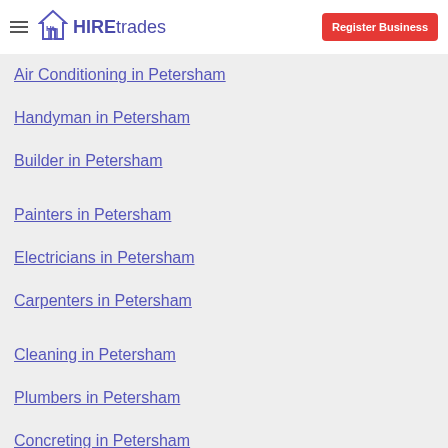HIREtrades | Register Business
Other Categories
Air Conditioning in Petersham
Handyman in Petersham
Builder in Petersham
Painters in Petersham
Electricians in Petersham
Carpenters in Petersham
Cleaning in Petersham
Plumbers in Petersham
Concreting in Petersham